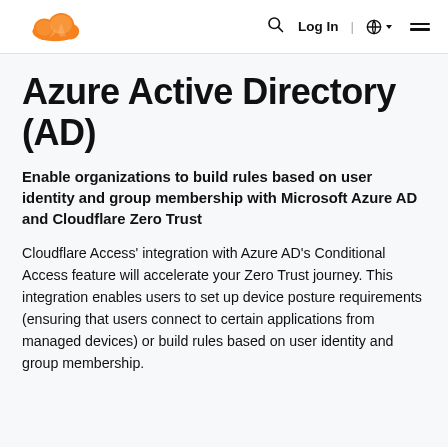Cloudflare logo | Search | Log In | Globe | Menu
Azure Active Directory (AD)
Enable organizations to build rules based on user identity and group membership with Microsoft Azure AD and Cloudflare Zero Trust
Cloudflare Access' integration with Azure AD's Conditional Access feature will accelerate your Zero Trust journey. This integration enables users to set up device posture requirements (ensuring that users connect to certain applications from managed devices) or build rules based on user identity and group membership.